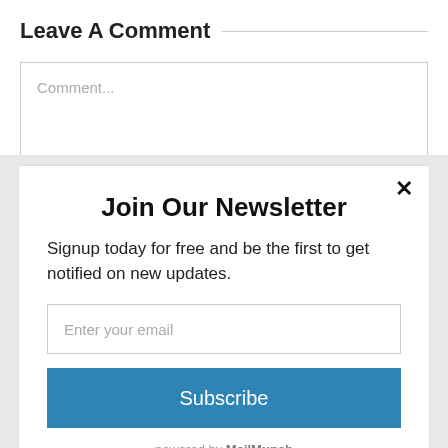Leave A Comment
Comment...
Join Our Newsletter
Signup today for free and be the first to get notified on new updates.
Enter your email
Subscribe
powered by MailMunch